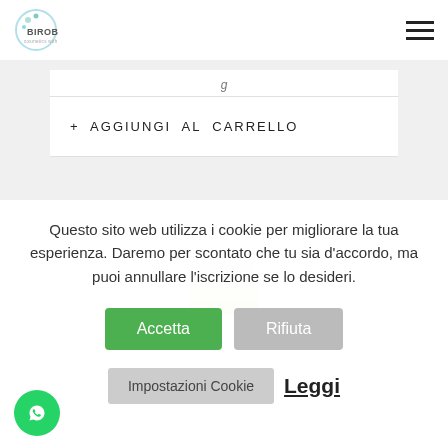BIROBIO
+ AGGIUNGI AL CARRELLO
[Figure (photo): Small cosmetic jar/bottle product image, white lid with olive/green base]
Questo sito web utilizza i cookie per migliorare la tua esperienza. Daremo per scontato che tu sia d'accordo, ma puoi annullare l'iscrizione se lo desideri.
Accetta
Rifiuta
Impostazioni Cookie
Leggi